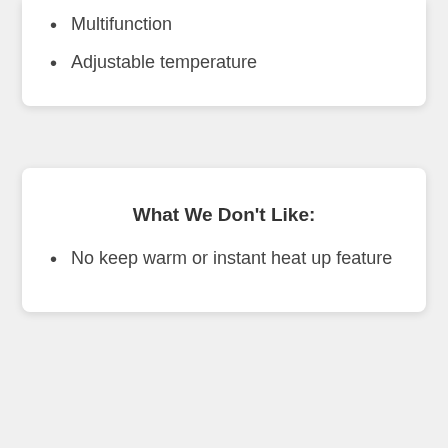Multifunction
Adjustable temperature
What We Don't Like:
No keep warm or instant heat up feature